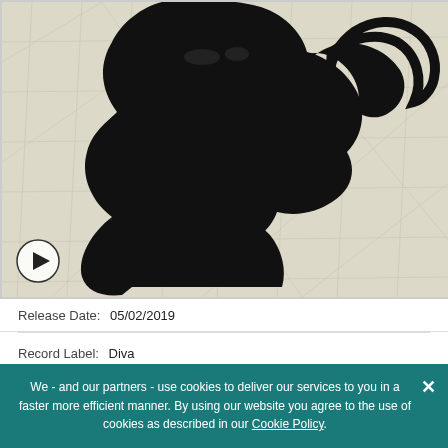[Figure (illustration): Black bold graphic silhouette of a person (appearing to be a musician holding an instrument to mouth) overlaid on a collage background of aerial/map imagery in beige/tan tones. A circular play button is overlaid in the bottom-left corner of the image.]
Release Date:  05/02/2019
Record Label:  Diva
We - and our partners - use cookies to deliver our services to you in a faster more efficient manner. By using our website you agree to the use of cookies as described in our Cookie Policy.